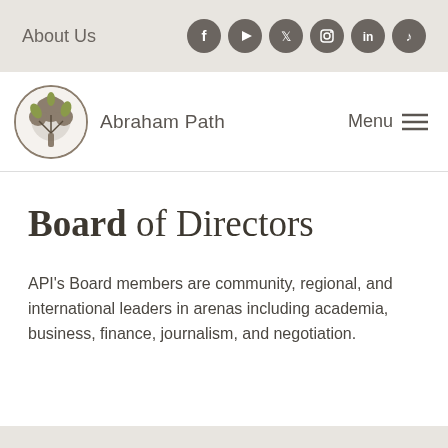About Us
[Figure (logo): Abraham Path Initiative tree logo with leaves, circular emblem]
Abraham Path  Menu
Board of Directors
API's Board members are community, regional, and international leaders in arenas including academia, business, finance, journalism, and negotiation.